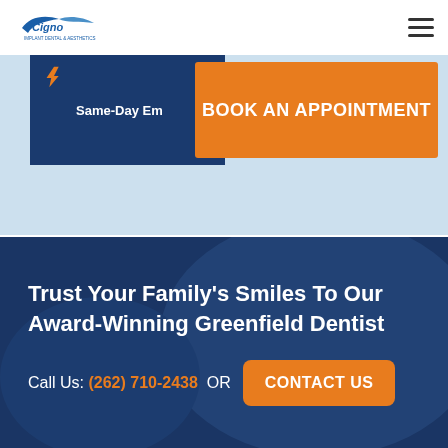[Figure (logo): Cigno dental logo with wing motif in blue]
[Figure (other): Hamburger menu icon (three horizontal lines)]
Same-Day Em
BOOK AN APPOINTMENT
Trust Your Family's Smiles To Our Award-Winning Greenfield Dentist
Call Us: (262) 710-2438  OR  CONTACT US